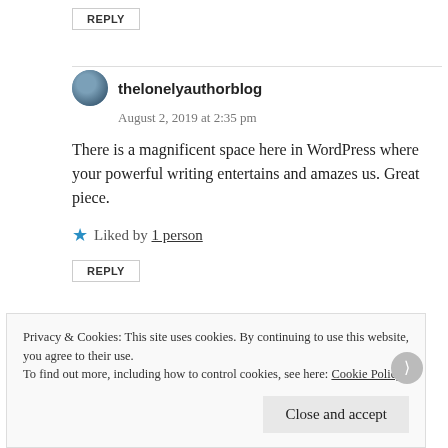REPLY
thelonelyauthorblog
August 2, 2019 at 2:35 pm
There is a magnificent space here in WordPress where your powerful writing entertains and amazes us. Great piece.
Liked by 1 person
REPLY
Privacy & Cookies: This site uses cookies. By continuing to use this website, you agree to their use. To find out more, including how to control cookies, see here: Cookie Policy
Close and accept